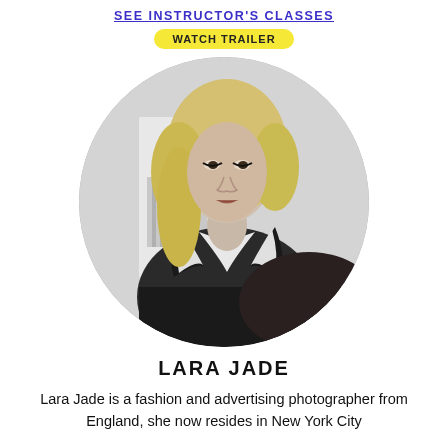SEE INSTRUCTOR'S CLASSES
WATCH TRAILER
[Figure (photo): Black and white portrait photo of Lara Jade, a blonde woman wearing a dark blazer with white trim, seated and looking to the side, displayed in a circular crop]
LARA JADE
Lara Jade is a fashion and advertising photographer from England, she now resides in New York City.